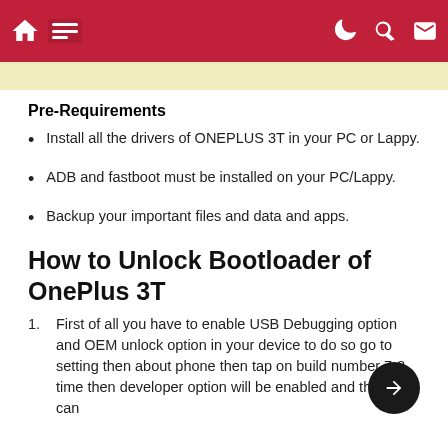Navigation bar with home, menu, moon, search, and mail icons
Pre-Requirements
Install all the drivers of ONEPLUS 3T in your PC or Lappy.
ADB and fastboot must be installed on your PC/Lappy.
Backup your important files and data and apps.
How to Unlock Bootloader of OnePlus 3T
First of all you have to enable USB Debugging option and OEM unlock option in your device to do so go to setting then about phone then tap on build number 7-8 time then developer option will be enabled and then you can